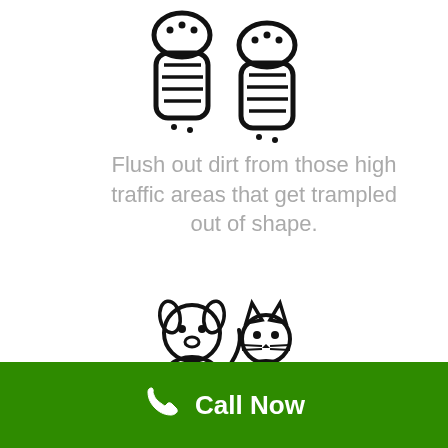[Figure (illustration): Icon of two shoe prints / boot soles viewed from above, outlined in black on white background]
Flush out dirt from those high traffic areas that get trampled out of shape.
[Figure (illustration): Icon of a dog and cat sitting together side by side, outlined in black on white background]
Eliminate pet stains and odors so your house is yours again.
Call Now